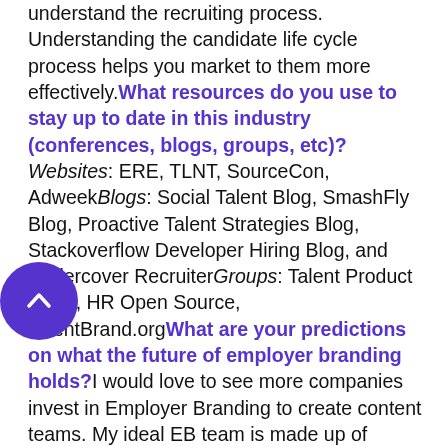understand the recruiting process. Understanding the candidate life cycle process helps you market to them more effectively. What resources do you use to stay up to date in this industry (conferences, blogs, groups, etc)? Websites: ERE, TLNT, SourceCon, Adweek Blogs: Social Talent Blog, SmashFly Blog, Proactive Talent Strategies Blog, Stackoverflow Developer Hiring Blog, and Undercover Recruiter Groups: Talent Product Plays, HR Open Source, TalentBrand.org What are your predictions on what the future of employer branding holds? I would love to see more companies invest in Employer Branding to create content teams. My ideal EB team is made up of a Writer, Photographer, Social Media Specialist, and Graphic Designer. I believe there will be a shift in power where Employer Branding will drive the Corporate Brand as an increase in scarcity for
[Figure (other): Purple circular back-to-top button with upward chevron arrow]